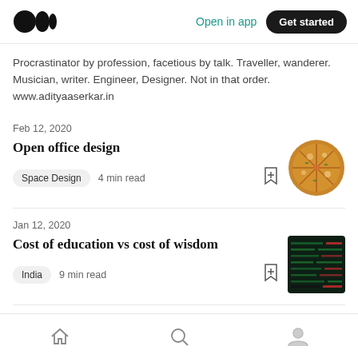Medium logo | Open in app | Get started
Procrastinator by profession, facetious by talk. Traveller, wanderer. Musician, writer. Engineer, Designer. Not in that order. www.adityaaserkar.in
Feb 12, 2020
Open office design
Space Design  4 min read
[Figure (photo): Thumbnail photo of a pizza]
Jan 12, 2020
Cost of education vs cost of wisdom
India  9 min read
[Figure (photo): Thumbnail image of a dark green scoreboard or financial data screen]
Home | Search | Profile